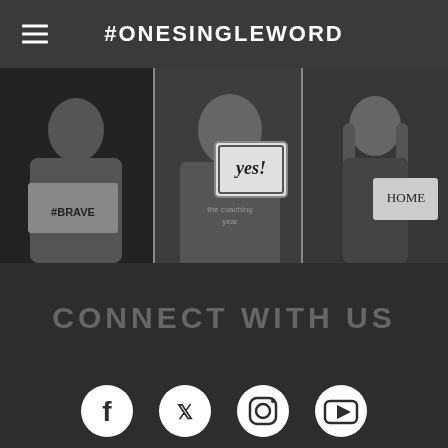#ONESINGLEWORD
[Figure (photo): Three black-and-white photos of people holding signs with words. Left person holds a sign with '#BRAVE', center person (smiling woman with glasses) holds a sign with 'YES!', right person (woman with long hair) holds a sign with 'HOME'.]
CONNECT WITH US
[Figure (infographic): Row of four social media icons: Facebook, Twitter, Instagram, YouTube — white icons on dark circular backgrounds.]